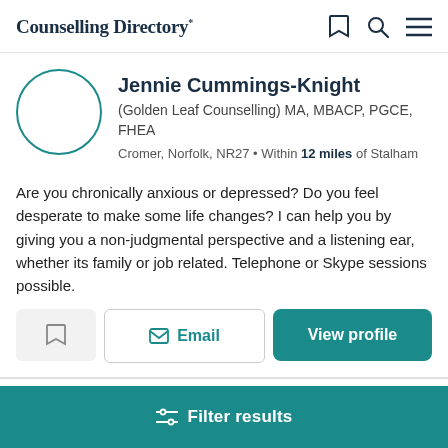Counselling Directory
Jennie Cummings-Knight
(Golden Leaf Counselling) MA, MBACP, PGCE, FHEA
Cromer, Norfolk, NR27 • Within 12 miles of Stalham
Are you chronically anxious or depressed? Do you feel desperate to make some life changes? I can help you by giving you a non-judgmental perspective and a listening ear, whether its family or job related. Telephone or Skype sessions possible.
Email
View profile
Filter results